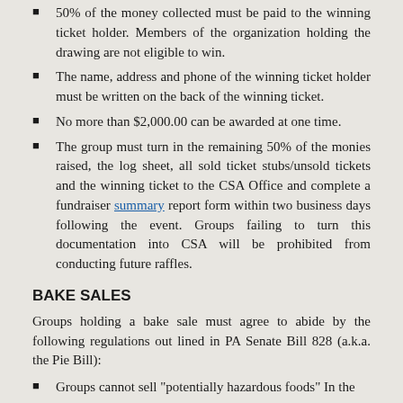50% of the money collected must be paid to the winning ticket holder. Members of the organization holding the drawing are not eligible to win.
The name, address and phone of the winning ticket holder must be written on the back of the winning ticket.
No more than $2,000.00 can be awarded at one time.
The group must turn in the remaining 50% of the monies raised, the log sheet, all sold ticket stubs/unsold tickets and the winning ticket to the CSA Office and complete a fundraiser summary report form within two business days following the event. Groups failing to turn this documentation into CSA will be prohibited from conducting future raffles.
BAKE SALES
Groups holding a bake sale must agree to abide by the following regulations out lined in PA Senate Bill 828 (a.k.a. the Pie Bill):
Groups cannot sell "potentially hazardous foods" In the